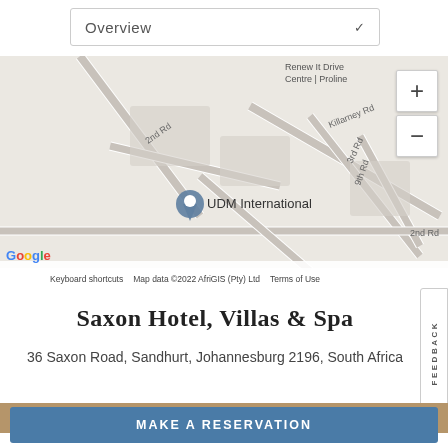Overview
[Figure (map): Google Map showing UDM International location with street labels including 2nd Rd, Killarney Rd, 3rd Rd, 9th Rd, 2nd Rd, and Renew It Drive Centre | Proline. Map data ©2022 AfriGIS (Pty) Ltd]
Saxon Hotel, Villas & Spa
36 Saxon Road, Sandhurt, Johannesburg 2196, South Africa
14 people have recently viewed this hotel
MAKE A RESERVATION